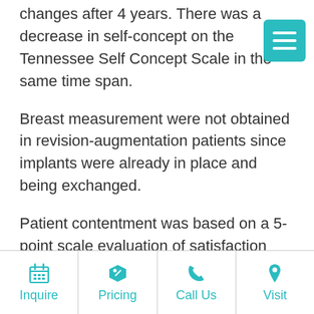changes after 4 years. There was a decrease in self-concept on the Tennessee Self Concept Scale in the same time span.
Breast measurement were not obtained in revision-augmentation patients since implants were already in place and being exchanged.
Patient contentment was based on a 5-point scale evaluation of satisfaction with their silicone breast implants at the time of the follow-up visits. Of the total 146 breast revision-augmentation patients in the study, 111 (76%)
Inquire | Pricing | Call Us | Visit